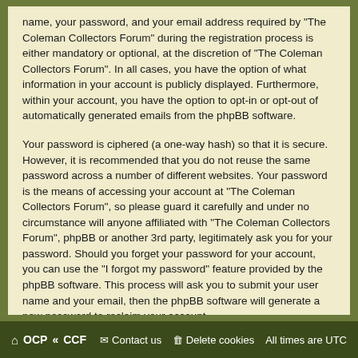name, your password, and your email address required by "The Coleman Collectors Forum" during the registration process is either mandatory or optional, at the discretion of "The Coleman Collectors Forum". In all cases, you have the option of what information in your account is publicly displayed. Furthermore, within your account, you have the option to opt-in or opt-out of automatically generated emails from the phpBB software.
Your password is ciphered (a one-way hash) so that it is secure. However, it is recommended that you do not reuse the same password across a number of different websites. Your password is the means of accessing your account at "The Coleman Collectors Forum", so please guard it carefully and under no circumstance will anyone affiliated with "The Coleman Collectors Forum", phpBB or another 3rd party, legitimately ask you for your password. Should you forget your password for your account, you can use the "I forgot my password" feature provided by the phpBB software. This process will ask you to submit your user name and your email, then the phpBB software will generate a new password to reclaim your account.
⌂ OCP « CCF   ✉ Contact us  🗑 Delete cookies  All times are UTC